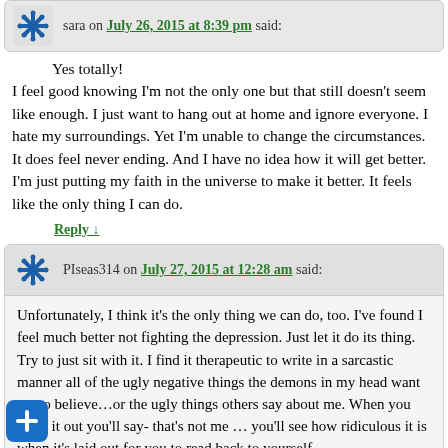sara on July 26, 2015 at 8:39 pm said:
Yes totally!
I feel good knowing I'm not the only one but that still doesn't seem like enough. I just want to hang out at home and ignore everyone. I hate my surroundings. Yet I'm unable to change the circumstances. It does feel never ending. And I have no idea how it will get better. I'm just putting my faith in the universe to make it better. It feels like the only thing I can do.
Reply ↓
PIseas314 on July 27, 2015 at 12:28 am said:
Unfortunately, I think it's the only thing we can do, too. I've found I feel much better not fighting the depression. Just let it do its thing. Try to just sit with it. I find it therapeutic to write in a sarcastic manner all of the ugly negative things the demons in my head want me to believe…or the ugly things others say about me. When you write it out you'll say- that's not me … you'll see how ridiculous it is when it's laid out for you to read back to yourself.
I think other people mean well, but no one can fix yourself but you, and in order to, it sometimes feels better to be separate from others so all of your energy is focused on yourself and